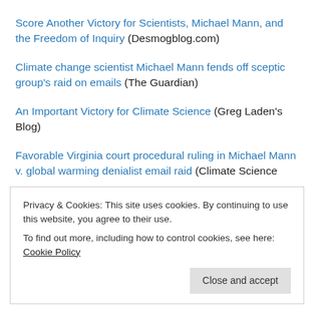Score Another Victory for Scientists, Michael Mann, and the Freedom of Inquiry (Desmogblog.com)
Climate change scientist Michael Mann fends off sceptic group's raid on emails (The Guardian)
An Important Victory for Climate Science (Greg Laden's Blog)
Favorable Virginia court procedural ruling in Michael Mann v. global warming denialist email raid (Climate Science
Privacy & Cookies: This site uses cookies. By continuing to use this website, you agree to their use. To find out more, including how to control cookies, see here: Cookie Policy